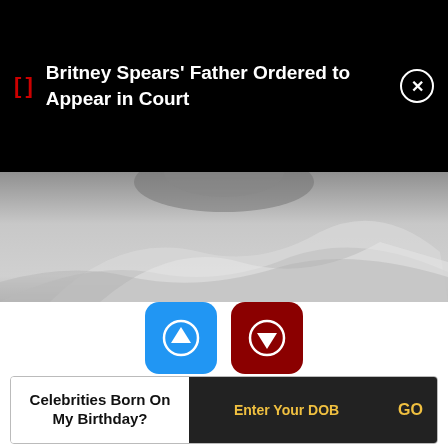Britney Spears' Father Ordered to Appear in Court
[Figure (photo): Grayscale photo showing a person with draped fabric/clothing, cropped to show lower face and upper torso area]
[Figure (infographic): Two rounded-rectangle vote buttons: blue with up-arrow (9 votes) and dark red with down-arrow (2 votes)]
Birthdate: April 5, 1873
Sun Sign: Aries
Birthplace: Enghien-les-Bains, France
Celebrities Born On My Birthday? Enter Your DOB GO